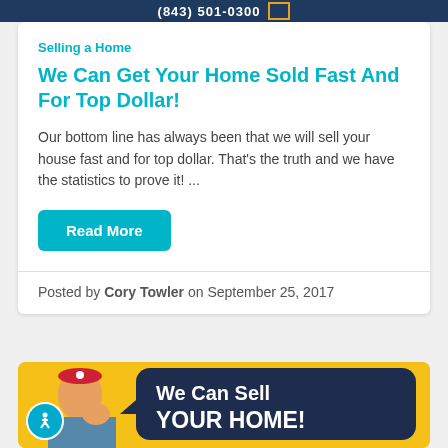(843) 501-0300
Selling a Home
We Can Get Your Home Sold Fast And For Top Dollar!
Our bottom line has always been that we will sell your house fast and for top dollar. That’s the truth and we have the statistics to prove it! ...
Read More
Posted by Cory Towler on September 25, 2017
[Figure (illustration): Rosie the Riveter style illustration on yellow background with speech bubble saying 'We Can Sell YOUR HOME!']